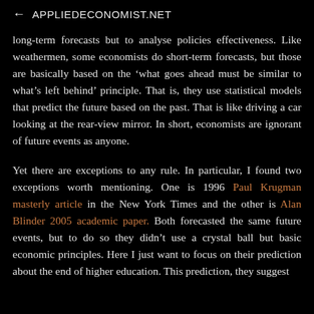← APPLIEDECONOMIST.NET
long-term forecasts but to analyse policies effectiveness. Like weathermen, some economists do short-term forecasts, but those are basically based on the 'what goes ahead must be similar to what's left behind' principle. That is, they use statistical models that predict the future based on the past. That is like driving a car looking at the rear-view mirror. In short, economists are ignorant of future events as anyone.
Yet there are exceptions to any rule. In particular, I found two exceptions worth mentioning. One is 1996 Paul Krugman masterly article in the New York Times and the other is Alan Blinder 2005 academic paper. Both forecasted the same future events, but to do so they didn't use a crystal ball but basic economic principles. Here I just want to focus on their prediction about the end of higher education. This prediction, they suggest